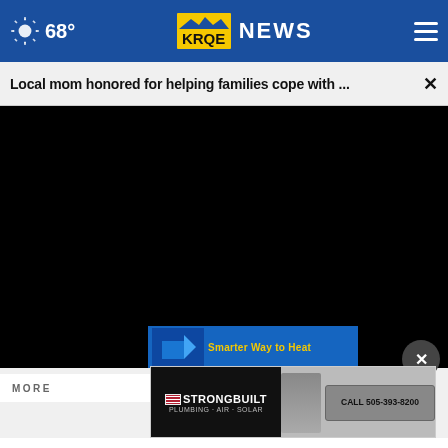68° KRQE NEWS
Local mom honored for helping families cope with ...
[Figure (screenshot): Black video player area filling most of the screen]
[Figure (screenshot): Blue overlay strip at bottom of video with yellow text reading 'Smarter Way to Heat']
MORE
[Figure (screenshot): Strongbuilt Plumbing Air Solar advertisement banner with CALL 505-393-8200]